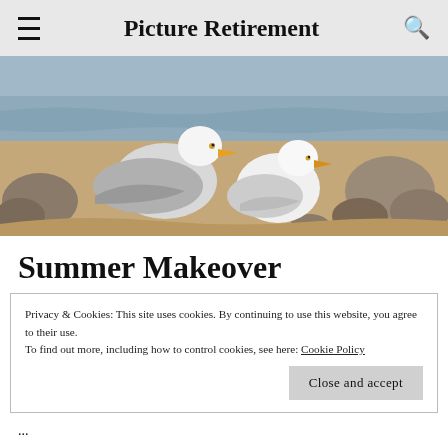Picture Retirement
[Figure (photo): Two seagulls sitting on a rocky beach shore with water and boulders in the background]
Summer Makeover
Privacy & Cookies: This site uses cookies. By continuing to use this website, you agree to their use.
To find out more, including how to control cookies, see here: Cookie Policy
Close and accept
...